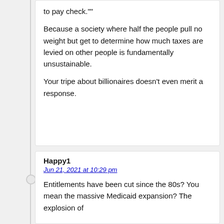to pay check.""
Because a society where half the people pull no weight but get to determine how much taxes are levied on other people is fundamentally unsustainable.
Your tripe about billionaires doesn’t even merit a response.
Happy1
Jun 21, 2021 at 10:29 pm
Entitlements have been cut since the 80s? You mean the massive Medicaid expansion? The explosion of